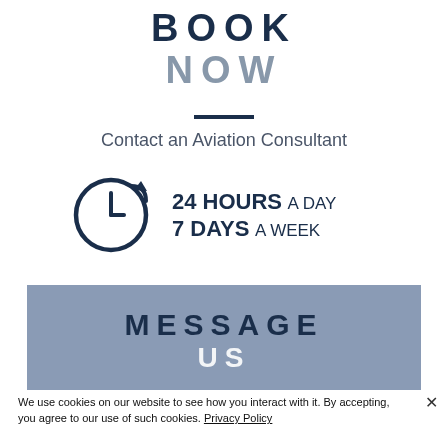BOOK NOW
[Figure (illustration): Clock icon with arrow indicating 24/7 availability, next to text '24 HOURS A DAY 7 DAYS A WEEK']
Contact an Aviation Consultant
[Figure (infographic): Blue-grey button with text 'MESSAGE US']
We use cookies on our website to see how you interact with it. By accepting, you agree to our use of such cookies. Privacy Policy
Settings
Accept